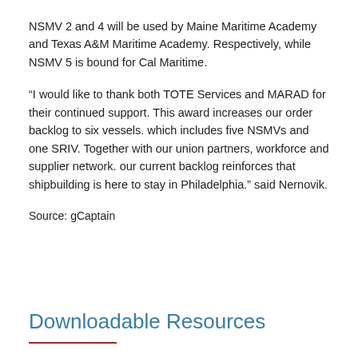NSMV 2 and 4 will be used by Maine Maritime Academy and Texas A&M Maritime Academy. Respectively, while NSMV 5 is bound for Cal Maritime.
“I would like to thank both TOTE Services and MARAD for their continued support. This award increases our order backlog to six vessels. which includes five NSMVs and one SRIV. Together with our union partners, workforce and supplier network. our current backlog reinforces that shipbuilding is here to stay in Philadelphia.” said Nernovik.
Source: gCaptain
Downloadable Resources